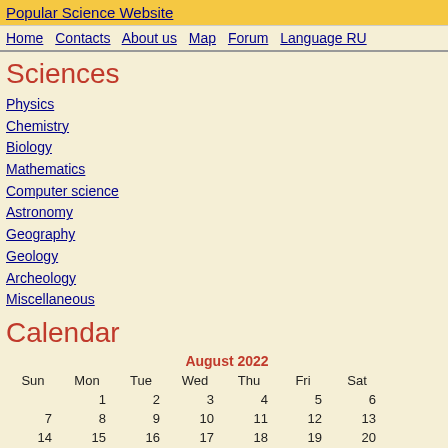Popular Science Website
Home | Contacts | About us | Map | Forum | Language RU
Sciences
Physics
Chemistry
Biology
Mathematics
Computer science
Astronomy
Geography
Geology
Archeology
Miscellaneous
Calendar
| Sun | Mon | Tue | Wed | Thu | Fri | Sat |
| --- | --- | --- | --- | --- | --- | --- |
|  | 1 | 2 | 3 | 4 | 5 | 6 |
| 7 | 8 | 9 | 10 | 11 | 12 | 13 |
| 14 | 15 | 16 | 17 | 18 | 19 | 20 |
| 21 | 22 | 23 | 24 | 25 | 26 | 27 |
| 28 | 29 | 30 | 31 |  |  |  |